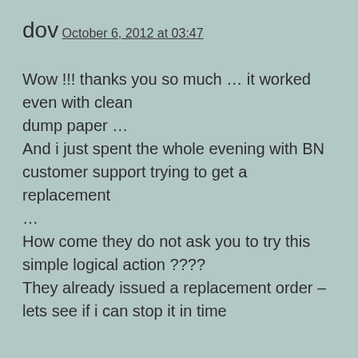dov
October 6, 2012 at 03:47
Wow !!! thanks you so much … it worked even with clean
dump paper …
And i just spent the whole evening with BN customer support trying to get a replacement …
How come they do not ask you to try this simple logical action ????
They already issued a replacement order – lets see if i can stop it in time